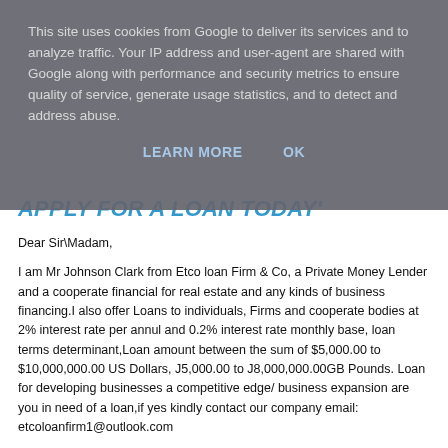This site uses cookies from Google to deliver its services and to analyze traffic. Your IP address and user-agent are shared with Google along with performance and security metrics to ensure quality of service, generate usage statistics, and to detect and address abuse.
LEARN MORE   OK
APPLY FOR A LOAN TODAY'
Dear Sir\Madam,
I am Mr Johnson Clark from Etco loan Firm & Co, a Private Money Lender and a cooperate financial for real estate and any kinds of business financing.I also offer Loans to individuals, Firms and cooperate bodies at 2% interest rate per annul and 0.2% interest rate monthly base, loan terms determinant,Loan amount between the sum of $5,000.00 to $10,000,000.00 US Dollars, J5,000.00 to J8,000,000.00GB Pounds. Loan for developing businesses a competitive edge/ business expansion are you in need of a loan,if yes kindly contact our company email: etcoloanfirm1@outlook.com